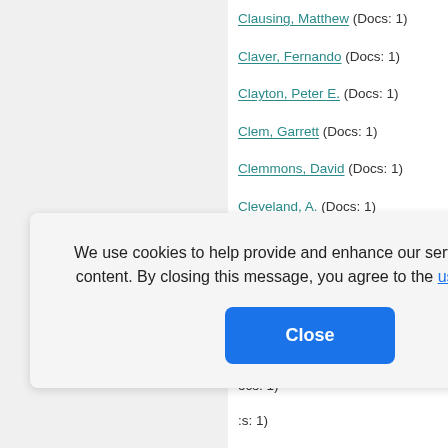Clausing, Matthew (Docs: 1)
Claver, Fernando (Docs: 1)
Clayton, Peter E. (Docs: 1)
Clem, Garrett (Docs: 1)
Clemmons, David (Docs: 1)
Cleveland, A. (Docs: 1)
Clift, Rachel (Docs: 1)
(Docs: 1)
(s: 2)
(ocs: 2)
(ocs: 1)
(:s: 1)
We use cookies to help provide and enhance our service and tailor content. By closing this message, you agree to the use of cookies.